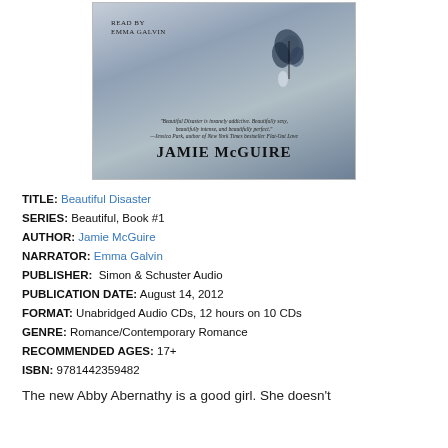[Figure (photo): Book cover for Beautiful Disaster audiobook by Jamie McGuire, read by Emma Galvin. Features a misty blue-grey background with a butterfly, published by Simon & Schuster Audio.]
TITLE: Beautiful Disaster
SERIES: Beautiful, Book #1
AUTHOR: Jamie McGuire
NARRATOR: Emma Galvin
PUBLISHER: Simon & Schuster Audio
PUBLICATION DATE: August 14, 2012
FORMAT: Unabridged Audio CDs, 12 hours on 10 CDs
GENRE: Romance/Contemporary Romance
RECOMMENDED AGES: 17+
ISBN: 9781442359482
The new Abby Abernathy is a good girl. She doesn't